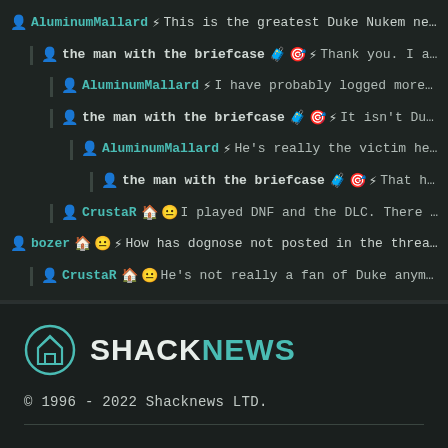AluminumMallard ⚡ This is the greatest Duke Nukem news...
the man with the briefcase 🧳◎⚡ Thank you. I am hap...
AluminumMallard ⚡ I have probably logged more ho...
the man with the briefcase 🧳◎⚡ It isn't Duke's ...
AluminumMallard ⚡ He's really the victim here.
the man with the briefcase 🧳◎⚡ That ha...
CrustaR 🏠😐 I played DNF and the DLC. There we...
bozer 🏠😐⚡ How has dognose not posted in the thread? ...
CrustaR 🏠😐 He's not really a fan of Duke anymore. :[
[Figure (logo): Shacknews logo with house icon in teal circle]
© 1996 - 2022 Shacknews LTD.